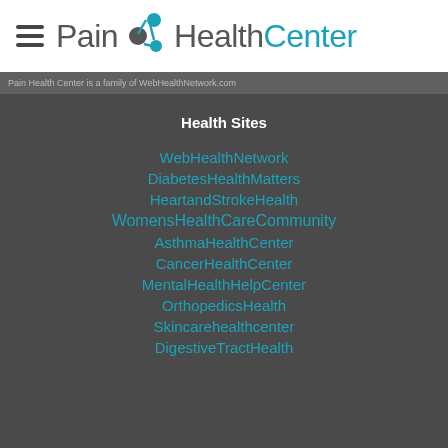Pain HealthCenter
Pain Health Center is a family of WebHealthNetwork.com
Health Sites
WebHealthNetwork
DiabetesHealthMatters
HeartandStrokeHealth
WomensHealthCareCommunity
AsthmaHealthCenter
CancerHealthCenter
MentalHealthHelpCenter
OrthopedicsHealth
Skincarehealthcenter
DigestiveTractHealth